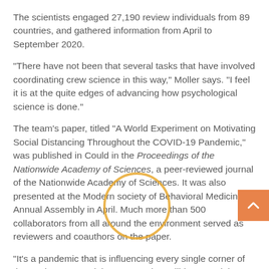The scientists engaged 27,190 review individuals from 89 countries, and gathered information from April to September 2020.
"There have not been that several tasks that have involved coordinating crew science in this way," Moller says. "I feel it is at the quite edges of advancing how psychological science is done."
The team's paper, titled "A World Experiment on Motivating Social Distancing Throughout the COVID-19 Pandemic," was published in Could in the Proceedings of the Nationwide Academy of Sciences, a peer-reviewed journal of the Nationwide Academy of Sciences. It was also presented at the Modern society of Behavioral Medicine's Annual Assembly in April. Much more than 500 collaborators from all around the environment served as reviewers and coauthors on the paper.
"It's a pandemic that is influencing every single corner of the earth," Legate claims. "It was incredibly essential to us to truly know, if our messages were success were they helpful globally? We're interested in discovering methods that can use all in excess of world, not just in certain subsets. We're seeking to determine out alternatives for a world inhabitants, so the truth that we noticed a couple of compact